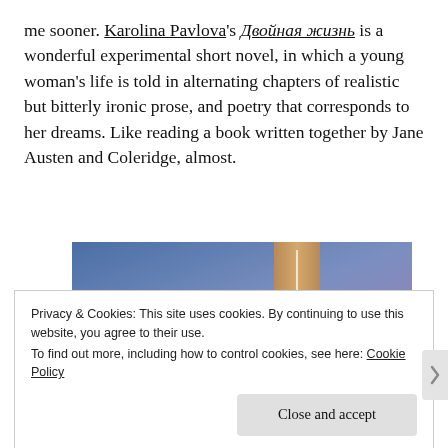me sooner. Karolina Pavlova's Двойная жизнь is a wonderful experimental short novel, in which a young woman's life is told in alternating chapters of realistic but bitterly ironic prose, and poetry that corresponds to her dreams. Like reading a book written together by Jane Austen and Coleridge, almost.
[Figure (illustration): Partial view of a book cover with a blue-to-purple gradient background and a tan/gold bookmark or spine element in the center-right area]
Privacy & Cookies: This site uses cookies. By continuing to use this website, you agree to their use.
To find out more, including how to control cookies, see here: Cookie Policy
Close and accept